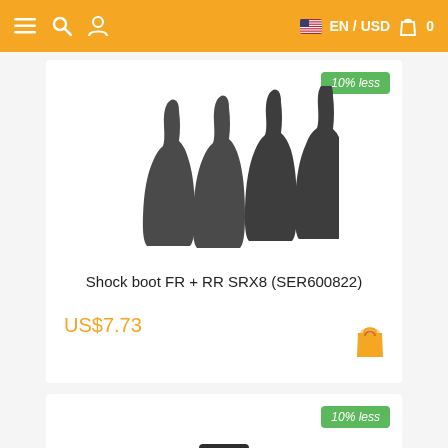≡ 🔍 👤   🇺🇸 EN / USD 🛍 0
[Figure (photo): Four dark gray rubber shock boots for RC car, shown standing upright on white background]
10% less
Shock boot FR + RR SRX8 (SER600822)
US$7.73
[Figure (photo): Dark gray plastic chassis/skid plates for RC car, partially visible at bottom of page]
10% less